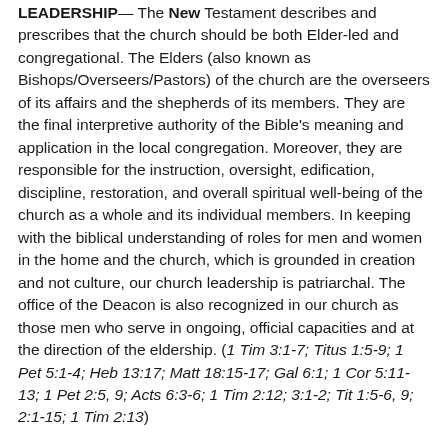LEADERSHIP— The New Testament describes and prescribes that the church should be both Elder-led and congregational.  The Elders (also known as Bishops/Overseers/Pastors) of the church are the overseers of its affairs and the shepherds of its members.  They are the final interpretive authority of the Bible's meaning and application in the local congregation.  Moreover, they are responsible for the instruction, oversight, edification, discipline, restoration, and overall spiritual well-being of the church as a whole and its individual members.  In keeping with the biblical understanding of roles for men and women in the home and the church, which is grounded in creation and not culture, our church leadership is patriarchal.  The office of the Deacon is also recognized in our church as those men who serve in ongoing, official capacities and at the direction of the eldership.  (1 Tim 3:1-7; Titus 1:5-9; 1 Pet 5:1-4; Heb 13:17; Matt 18:15-17; Gal 6:1; 1 Cor 5:11-13; 1 Pet 2:5, 9; Acts 6:3-6; 1 Tim 2:12; 3:1-2; Tit 1:5-6, 9; 2:1-15; 1 Tim 2:13)
ACCOUNTABILITY—The local church is made up of various men and women who are at different stages of spiritual development.  Yet the goal of the entire